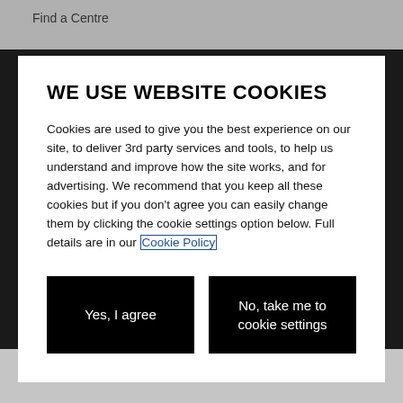Find a Centre
WE USE WEBSITE COOKIES
Cookies are used to give you the best experience on our site, to deliver 3rd party services and tools, to help us understand and improve how the site works, and for advertising. We recommend that you keep all these cookies but if you don't agree you can easily change them by clicking the cookie settings option below. Full details are in our Cookie Policy
Yes, I agree
No, take me to cookie settings
STANDARD FEATURES
VIEW ALL →